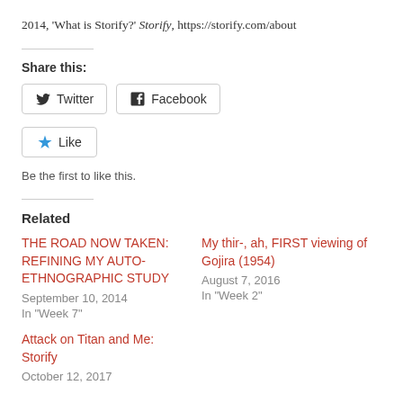2014, 'What is Storify?' Storify, https://storify.com/about
Share this:
Twitter  Facebook
Like  Be the first to like this.
Related
THE ROAD NOW TAKEN: REFINING MY AUTO-ETHNOGRAPHIC STUDY
September 10, 2014
In "Week 7"
My thir-, ah, FIRST viewing of Gojira (1954)
August 7, 2016
In "Week 2"
Attack on Titan and Me: Storify
October 12, 2017